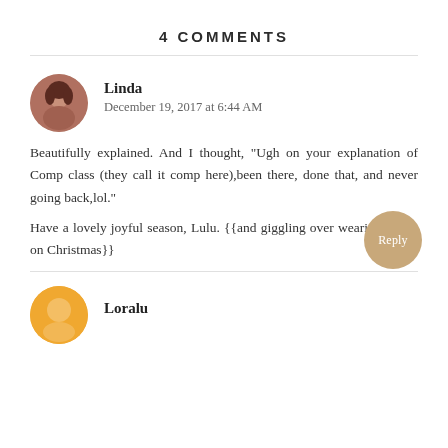4 COMMENTS
Linda
December 19, 2017 at 6:44 AM
Beautifully explained. And I thought, "Ugh on your explanation of Comp class (they call it comp here),been there, done that, and never going back,lol."
Have a lovely joyful season, Lulu. {{and giggling over wearing shorts on Christmas}}
Reply
Loralu